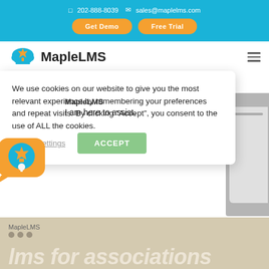202-888-8039   sales@maplelms.com
Get Demo   Free Trial
[Figure (logo): MapleLMS logo with blue cloud and orange maple leaf icon, text MapleLMS]
We use cookies on our website to give you the most relevant experience by remembering your preferences and repeat visits. By clicking "Accept", you consent to the use of ALL the cookies.
MapleLMS
I am here to assist.
Cookie settings
ACCEPT
MapleLMS
lms for associations